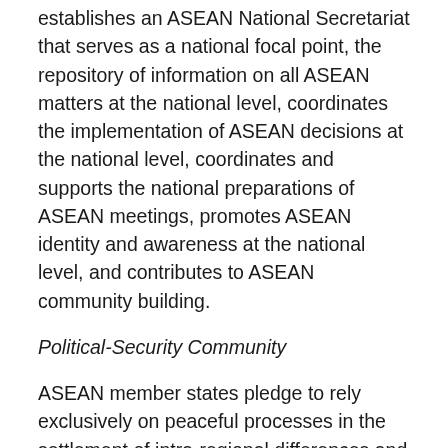establishes an ASEAN National Secretariat that serves as a national focal point, the repository of information on all ASEAN matters at the national level, coordinates the implementation of ASEAN decisions at the national level, coordinates and supports the national preparations of ASEAN meetings, promotes ASEAN identity and awareness at the national level, and contributes to ASEAN community building.
Political-Security Community
ASEAN member states pledge to rely exclusively on peaceful processes in the settlement of intra-regional differences and with regard to their security. They are fundamentally linked to one another and bound by geographic location, as well